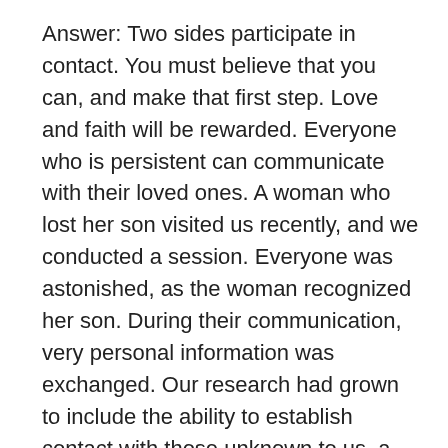Answer: Two sides participate in contact. You must believe that you can, and make that first step. Love and faith will be rewarded. Everyone who is persistent can communicate with their loved ones. A woman who lost her son visited us recently, and we conducted a session. Everyone was astonished, as the woman recognized her son. During their communication, very personal information was exchanged. Our research had grown to include the ability to establish contact with those unknown to us, a first in our practice.
The method for conducting similar communication sessions is described at our article site: http://www.mntr.bitsoznaniya.ru